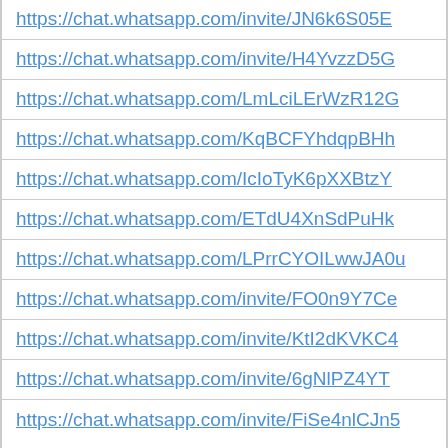https://chat.whatsapp.com/invite/JN6k6S05E
https://chat.whatsapp.com/invite/H4YvzzD5G
https://chat.whatsapp.com/LmLciLErWzR12G
https://chat.whatsapp.com/KqBCFYhdqpBHh
https://chat.whatsapp.com/IcIoTyK6pXXBtzY
https://chat.whatsapp.com/ETdU4XnSdPuHk
https://chat.whatsapp.com/LPrrCYOILwwJA0u
https://chat.whatsapp.com/invite/FO0n9Y7Ce
https://chat.whatsapp.com/invite/KtI2dKVKC4
https://chat.whatsapp.com/invite/6gNlPZ4YT
https://chat.whatsapp.com/invite/FiSe4nlCJn5